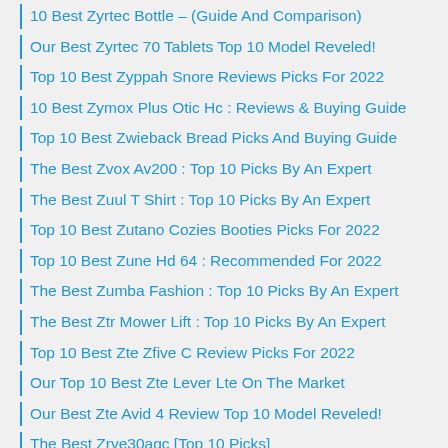10 Best Zyrtec Bottle – (Guide And Comparison)
Our Best Zyrtec 70 Tablets Top 10 Model Reveled!
Top 10 Best Zyppah Snore Reviews Picks For 2022
10 Best Zymox Plus Otic Hc : Reviews & Buying Guide
Top 10 Best Zwieback Bread Picks And Buying Guide
The Best Zvox Av200 : Top 10 Picks By An Expert
The Best Zuul T Shirt : Top 10 Picks By An Expert
Top 10 Best Zutano Cozies Booties Picks For 2022
Top 10 Best Zune Hd 64 : Recommended For 2022
The Best Zumba Fashion : Top 10 Picks By An Expert
The Best Ztr Mower Lift : Top 10 Picks By An Expert
Top 10 Best Zte Zfive C Review Picks For 2022
Our Top 10 Best Zte Lever Lte On The Market
Our Best Zte Avid 4 Review Top 10 Model Reveled!
The Best Zrve30agc [Top 10 Picks]